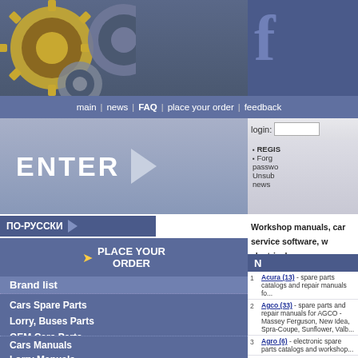[Figure (screenshot): Website header with gear/cog imagery on left and Facebook F logo on right against blue background]
main | news | FAQ | place your order | feedback
login: [input] password: [input]
REGIS... Forgot password... Unsub... news
ENTER
ПО-РУССКИ
PLACE YOUR ORDER
Brand list
Cars Spare Parts
Lorry, Buses Parts
OEM Cars Parts
OEM Lorry Parts
Cars Manuals
Lorry Manuals
Lift Trucks Parts
ForkLift Manuals
Agriculture Parts
Agriculture Manuals
Cranes Parts
Cranes Manuals
Workshop manuals, car service software, w... electrical a... If you can't find
| N | Brand |
| --- | --- |
| 1 | Acura (13) - spare parts catalogs and repair manuals fo... |
| 2 | Agco (33) - spare parts and repair manuals for AGCO - Massey Ferguson, New Idea, Spra-Coupe, Sunflower, Valb... |
| 3 | Agro (6) - electronic spare parts catalogs and workshop... |
| 4 | Airman (Hokuetsu Industrial Co LTD) (9) - ele... Airman technics, Airman wiring diagrams, hydraulic diagra... |
| 5 | Alldata (3) - spare parts, repair manuals, wiring diagram... |
| 6 | Allison (1) - Spare parts catalogs, repair manuals and o... |
| 7 | Ammann (3) - spare parts catalogs |
| 8 | Aprilia (8) - spare parts catalogs and repair manuals fo... |